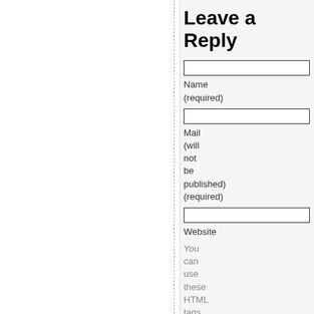Leave a Reply
Name (required)
Mail (will not be published) (required)
Website
You can use these HTML tags